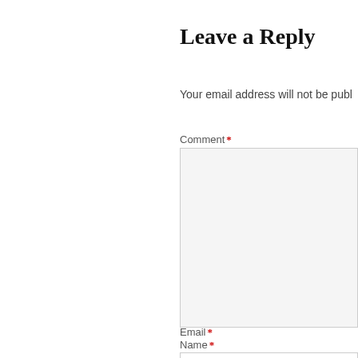Leave a Reply
Your email address will not be publ…
Comment *
Name *
Email *